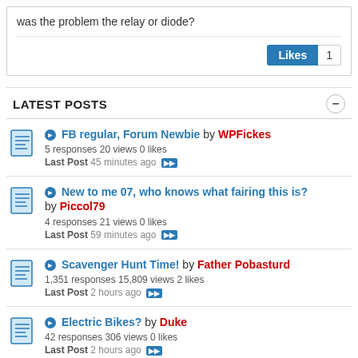was the problem the relay or diode?
Likes 1
LATEST POSTS
FB regular, Forum Newbie by WPFickes
5 responses 20 views 0 likes
Last Post 45 minutes ago
New to me 07, who knows what fairing this is? by Piccol79
4 responses 21 views 0 likes
Last Post 59 minutes ago
Scavenger Hunt Time! by Father Pobasturd
1,351 responses 15,809 views 2 likes
Last Post 2 hours ago
Electric Bikes? by Duke
42 responses 306 views 0 likes
Last Post 2 hours ago